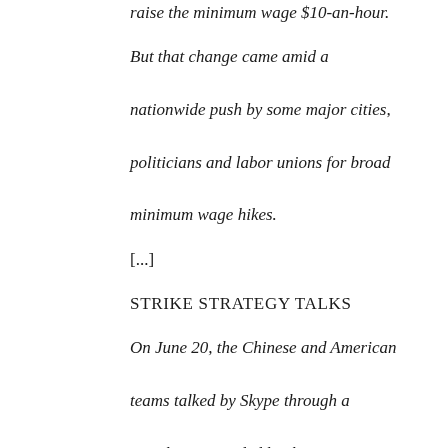raise the minimum wage $10-an-hour.
But that change came amid a nationwide push by some major cities, politicians and labor unions for broad minimum wage hikes.
[...]
STRIKE STRATEGY TALKS
On June 20, the Chinese and American teams talked by Skype through a translator provided by the WCWA, OUR Wal-Mart's Davunt and the WCWA told